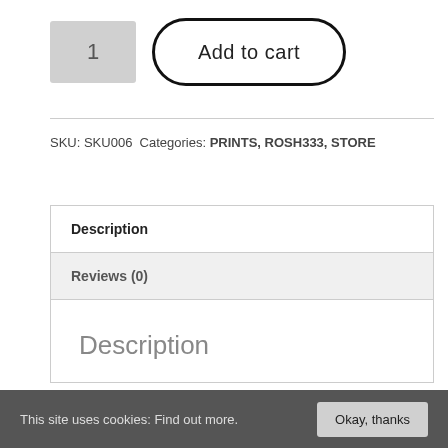[Figure (screenshot): Quantity input box showing '1' and an 'Add to cart' button with rounded border]
SKU: SKU006  Categories: PRINTS, ROSH333, STORE
| Description |
| Reviews (0) |
Description
This site uses cookies: Find out more.  Okay, thanks